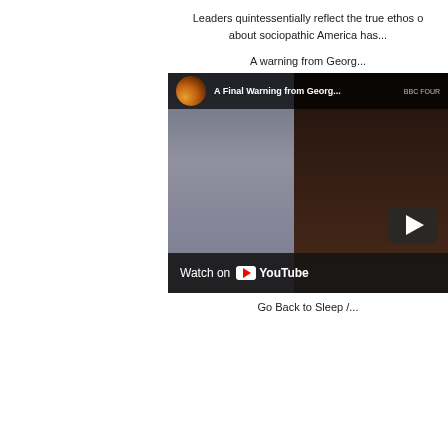Leaders quintessentially reflect the true ethos o... about sociopathic America has...
A warning from Georg...
[Figure (screenshot): YouTube video thumbnail showing 'A Final Warning from Georg...' with a man's face and a play button, with 'Watch on YouTube' bar at the bottom]
Go Back to Sleep /...